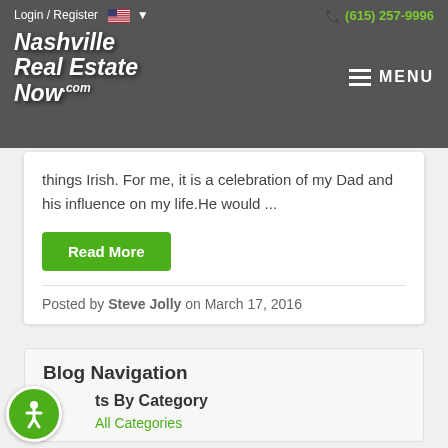Login / Register  (615) 257-9996  Nashville Real Estate Now  MENU
things Irish. For me, it is a celebration of my Dad and his influence on my life.He would ...
Read More
Posted by Steve Jolly on March 17, 2016
Blog Navigation
Posts By Category
All Categories